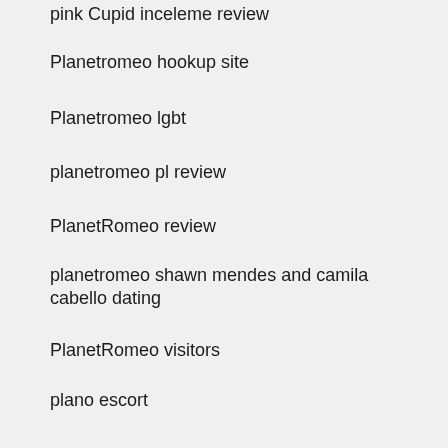pink Cupid inceleme review
Planetromeo hookup site
Planetromeo lgbt
planetromeo pl review
PlanetRomeo review
planetromeo shawn mendes and camila cabello dating
PlanetRomeo visitors
plano escort
plenty of fish Chiacchierare
plenty of fish es review
plenty of fish przejrze?